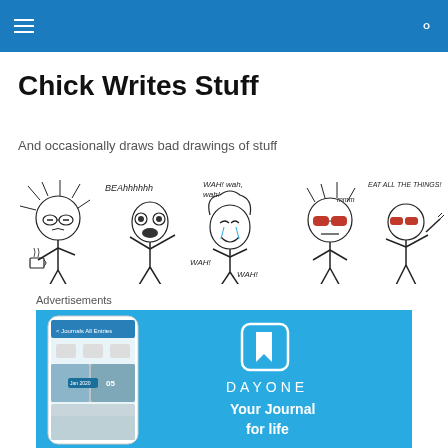Chick Writes Stuff — navigation header with hamburger menu and search icon
Chick Writes Stuff
And occasionally draws bad drawings of stuff
[Figure (illustration): A series of hand-drawn stick figure comic panels showing characters in various expressive poses with speech text like 'BEAhhhhhh', 'WAH! wah! wah!', 'mmm', 'EAT ALL THE THINGS!']
Advertisements
[Figure (screenshot): Day One app advertisement showing a smartphone with the Day One journal app open, alongside the Day One logo and tagline 'Your Journal for life' on a light blue background]